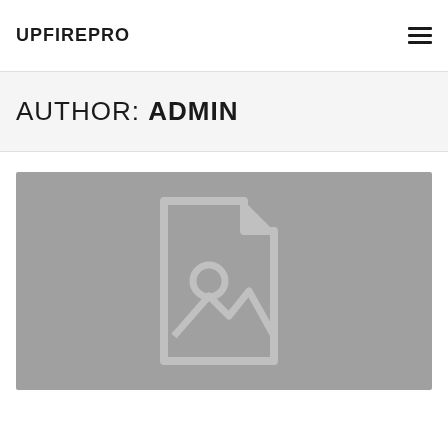UPFIREPRO
AUTHOR: ADMIN
[Figure (illustration): Gray placeholder image with a document/image icon in the center showing a stylized page with a folded corner and a landscape photo icon inside]